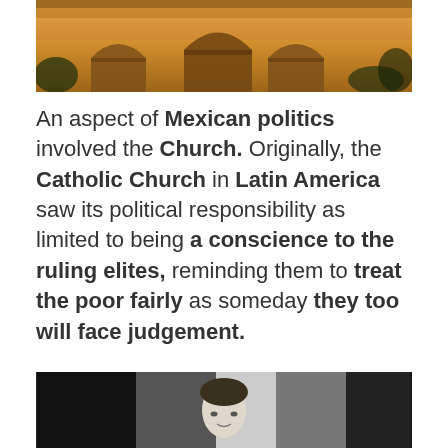[Figure (photo): Historic building with arched facade, warm amber/orange tones, appears to be a Mexican colonial or mission-style structure]
An aspect of Mexican politics involved the Church. Originally, the Catholic Church in Latin America saw its political responsibility as limited to being a conscience to the ruling elites, reminding them to treat the poor fairly as someday they too will face judgement.
[Figure (photo): Black and white photograph of a person, partially visible at bottom of page]